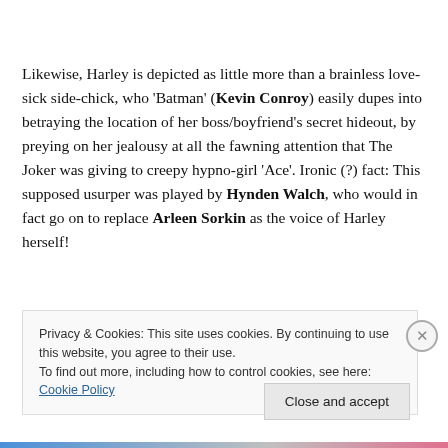Likewise, Harley is depicted as little more than a brainless love-sick side-chick, who 'Batman' (Kevin Conroy) easily dupes into betraying the location of her boss/boyfriend's secret hideout, by preying on her jealousy at all the fawning attention that The Joker was giving to creepy hypno-girl 'Ace'. Ironic (?) fact: This supposed usurper was played by Hynden Walch, who would in fact go on to replace Arleen Sorkin as the voice of Harley herself!
Privacy & Cookies: This site uses cookies. By continuing to use this website, you agree to their use.
To find out more, including how to control cookies, see here: Cookie Policy